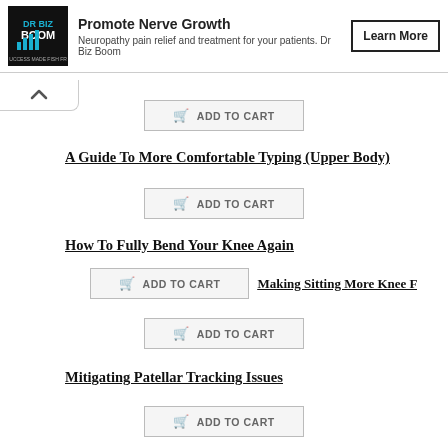[Figure (logo): Dr Biz Boom logo - black background with blue and white text]
Promote Nerve Growth
Neuropathy pain relief and treatment for your patients. Dr Biz Boom
Learn More
ADD TO CART
A Guide To More Comfortable Typing (Upper Body)
ADD TO CART
How To Fully Bend Your Knee Again
ADD TO CART
Making Sitting More Knee Frie
ADD TO CART
Mitigating Patellar Tracking Issues
ADD TO CART